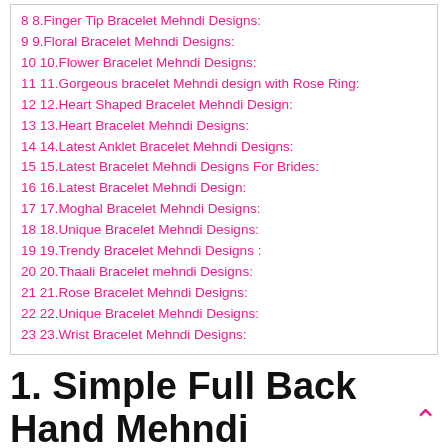8 8.Finger Tip Bracelet Mehndi Designs:
9 9.Floral Bracelet Mehndi Designs:
10 10.Flower Bracelet Mehndi Designs:
11 11.Gorgeous bracelet Mehndi design with Rose Ring:
12 12.Heart Shaped Bracelet Mehndi Design:
13 13.Heart Bracelet Mehndi Designs:
14 14.Latest Anklet Bracelet Mehndi Designs:
15 15.Latest Bracelet Mehndi Designs For Brides:
16 16.Latest Bracelet Mehndi Design:
17 17.Moghal Bracelet Mehndi Designs:
18 18.Unique Bracelet Mehndi Designs:
19 19.Trendy Bracelet Mehndi Designs :
20 20.Thaali Bracelet mehndi Designs:
21 21.Rose Bracelet Mehndi Designs:
22 22.Unique Bracelet Mehndi Designs:
23 23.Wrist Bracelet Mehndi Designs:
1. Simple Full Back Hand Mehndi